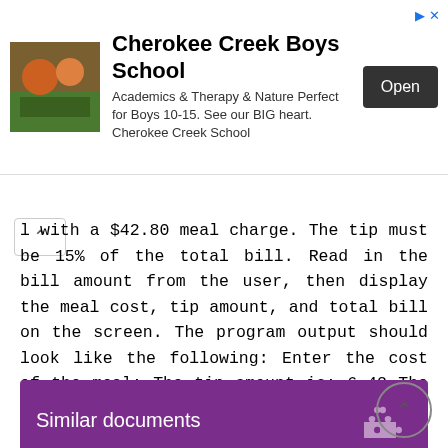[Figure (other): Advertisement banner for Cherokee Creek Boys School with school photo, text description, and Open button]
l with a $42.80 meal charge. The tip must be 15% of the total bill. Read in the bill amount from the user, then display the meal cost, tip amount, and total bill on the screen. The program output should look like the following: Enter the cost of the meal: The tip amount is: 6.42 The total cost is: Press any key to continue... 9
Similar documents